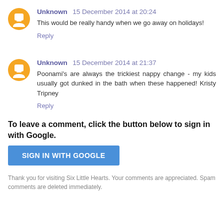Unknown  15 December 2014 at 20:24
This would be really handy when we go away on holidays!
Reply
Unknown  15 December 2014 at 21:37
Poonami's are always the trickiest nappy change - my kids usually got dunked in the bath when these happened! Kristy Tripney
Reply
To leave a comment, click the button below to sign in with Google.
SIGN IN WITH GOOGLE
Thank you for visiting Six Little Hearts. Your comments are appreciated. Spam comments are deleted immediately.